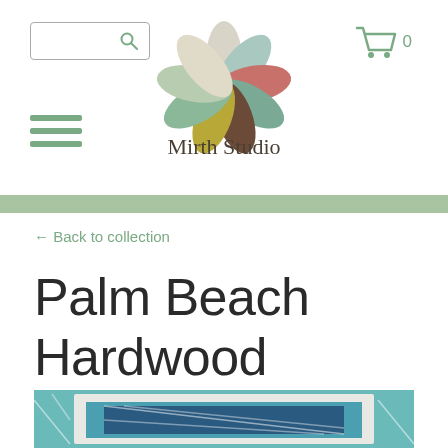[Figure (logo): Mirth Studio logo: a colorful pinwheel flower made of overlapping leaf shapes in muted teal, green, pink/red, brown, olive, and cream colors, with the text 'Mirth Studio' below in a serif font]
← Back to collection
Palm Beach Hardwood
[Figure (photo): Partial view of a quilt with teal, blue, and white geometric diamond/lattice pattern]